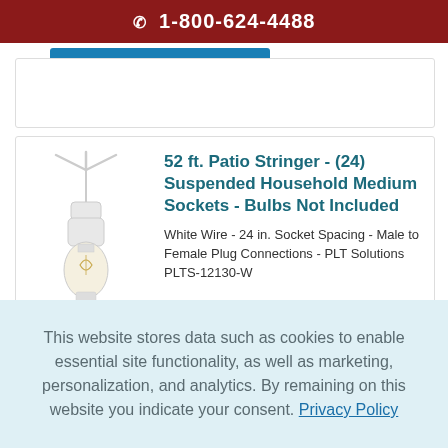☎ 1-800-624-4488
[Figure (illustration): Product image of a white patio string light socket with a visible LED Edison-style bulb, with three wire prongs at top]
PLTS-12130-W
52 ft. Patio Stringer - (24) Suspended Household Medium Sockets - Bulbs Not Included
White Wire - 24 in. Socket Spacing - Male to Female Plug Connections - PLT Solutions PLTS-12130-W
This website stores data such as cookies to enable essential site functionality, as well as marketing, personalization, and analytics. By remaining on this website you indicate your consent. Privacy Policy